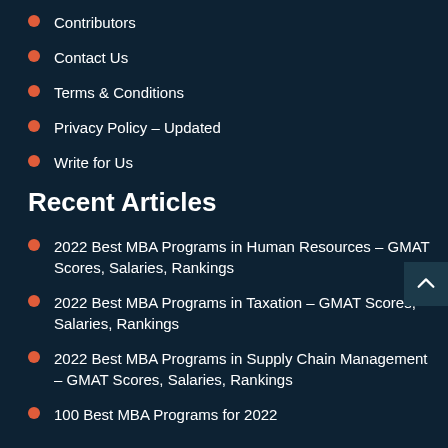Contributors
Contact Us
Terms & Conditions
Privacy Policy – Updated
Write for Us
Recent Articles
2022 Best MBA Programs in Human Resources – GMAT Scores, Salaries, Rankings
2022 Best MBA Programs in Taxation – GMAT Scores, Salaries, Rankings
2022 Best MBA Programs in Supply Chain Management – GMAT Scores, Salaries, Rankings
100 Best MBA Programs for 2022